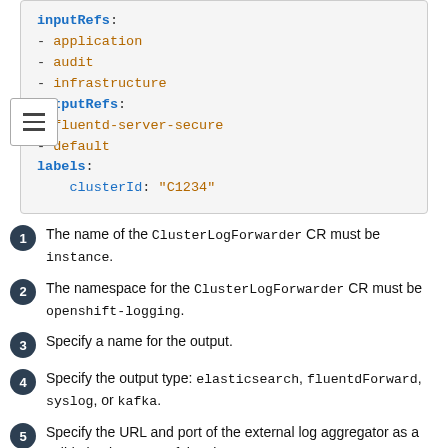inputRefs:
- application
- audit
- infrastructure
outputRefs:
- fluentd-server-secure
- default
labels:
  clusterId: "C1234"
The name of the ClusterLogForwarder CR must be instance.
The namespace for the ClusterLogForwarder CR must be openshift-logging.
Specify a name for the output.
Specify the output type: elasticsearch, fluentdForward, syslog, or kafka.
Specify the URL and port of the external log aggregator as a valid absolute URL. If the cluster-